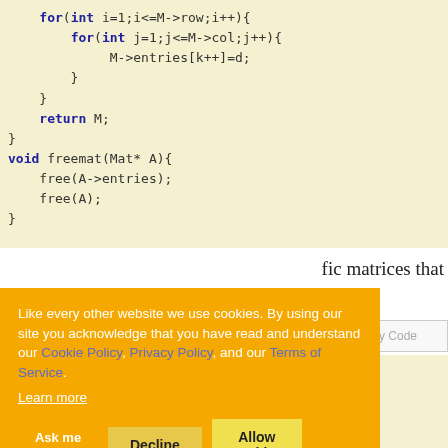[Figure (screenshot): C code snippet showing nested for loops filling matrix entries, and freemat function. Background is light yellow. Keywords 'for', 'void', 'return' in dark blue bold.]
fic matrices that
[Figure (screenshot): Cookie consent overlay on orange background with text about cookies, links to Cookie Policy, Privacy Policy, Terms of Service, and buttons: Ask me later, Decline, Allow cookies]
Copy Code
[Figure (screenshot): Partial C code snippet at bottom of page, partially obscured by cookie overlay]